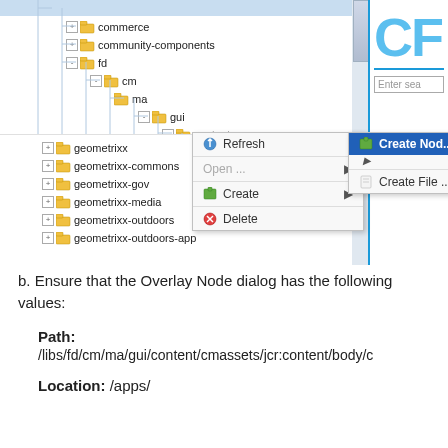[Figure (screenshot): Screenshot of a CRX/CRXDE file tree showing apps folder structure including commerce, community-components, fd > cm > ma > gui > content > cmassets > jcr:content > body > content > header > items > selection > items nodes. A context menu is open showing Refresh, Open, Create (with submenu showing Create Node... and Create File...), and Delete options.]
b. Ensure that the Overlay Node dialog has the following values:
Path:
/libs/fd/cm/ma/gui/content/cmassets/jcr:content/body/c
Location: /apps/